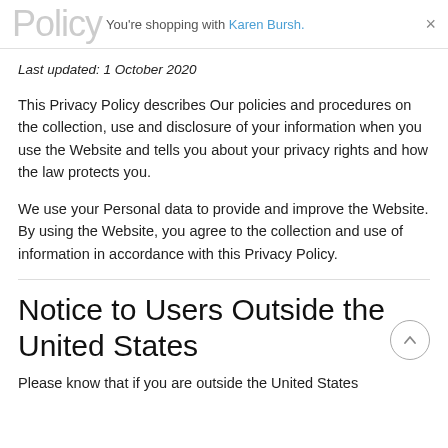Policy You're shopping with Karen Bursh. ×
Last updated: 1 October 2020
This Privacy Policy describes Our policies and procedures on the collection, use and disclosure of your information when you use the Website and tells you about your privacy rights and how the law protects you.
We use your Personal data to provide and improve the Website. By using the Website, you agree to the collection and use of information in accordance with this Privacy Policy.
Notice to Users Outside the United States
Please know that if you are outside the United States